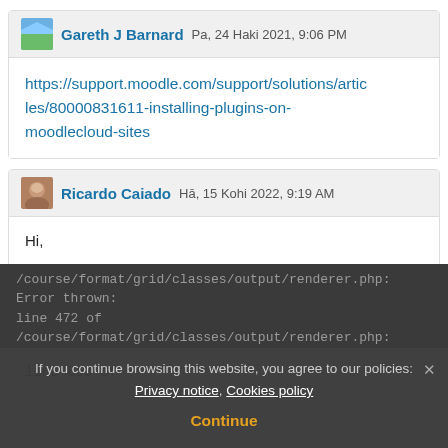Gareth J Barnard  Pa, 24 Haki 2021, 9:06 PM
https://support.moodle.com/support/solutions/articles/80000831611-installing-plugins-on-moodlecloud-sites
Ricardo Caiado  Hā, 15 Kohi 2022, 9:19 AM
Hi,

After upgrading to "3.11.1.0 (2021102700)"

"...
Class 'format_grid\output\core_text' not found

line 863 of
/course/format/grid/classes/output/renderer.php:
Error thrown:
line 472 of
/course/format/grid/classes/output/renderer.php:
If you continue browsing this website, you agree to our policies: Privacy notice, Cookies policy
Continue